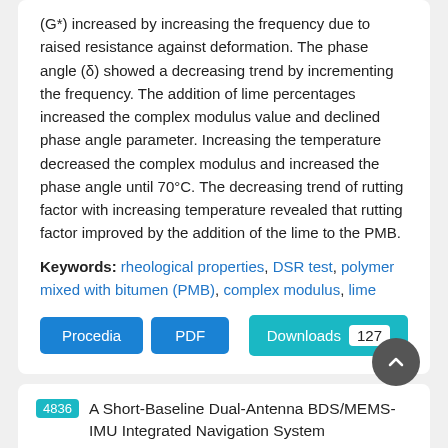(G*) increased by increasing the frequency due to raised resistance against deformation. The phase angle (δ) showed a decreasing trend by incrementing the frequency. The addition of lime percentages increased the complex modulus value and declined phase angle parameter. Increasing the temperature decreased the complex modulus and increased the phase angle until 70°C. The decreasing trend of rutting factor with increasing temperature revealed that rutting factor improved by the addition of the lime to the PMB.
Keywords: rheological properties, DSR test, polymer mixed with bitumen (PMB), complex modulus, lime
Procedia | PDF | Downloads 127
4836 A Short-Baseline Dual-Antenna BDS/MEMS-IMU Integrated Navigation System